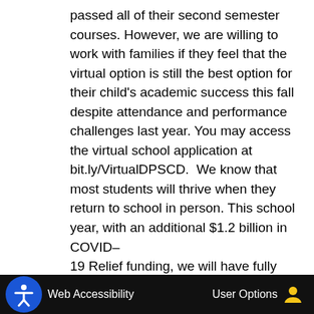passed all of their second semester courses. However, we are willing to work with families if they feel that the virtual option is still the best option for their child's academic success this fall despite attendance and performance challenges last year. You may access the virtual school application at bit.ly/VirtualDPSCD.  We know that most students will thrive when they return to school in person. This school year, with an additional $1.2 billion in COVID–19 Relief funding, we will have fully staffed classrooms, smaller class sizes, more technology for your child, expanded after school programs, and a nurse and mental health support at each school. We are also continuing to expand our literacy support with more small groups and one–
Web Accessibility    User Options